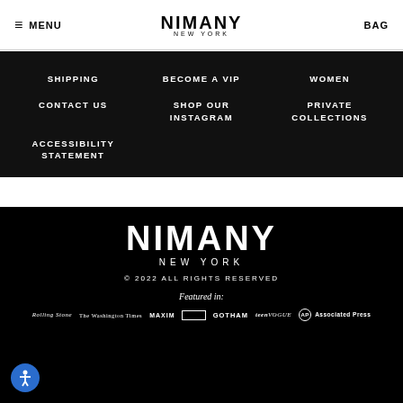MENU | NIMANY NEW YORK | BAG
SHIPPING
BECOME A VIP
WOMEN
CONTACT US
SHOP OUR INSTAGRAM
PRIVATE COLLECTIONS
ACCESSIBILITY STATEMENT
[Figure (logo): NIMANY NEW YORK large white logo on black background]
© 2022 ALL RIGHTS RESERVED
Featured in:
[Figure (logo): Media logos: Rolling Stone, The Washington Times, MAXIM, BBC, GOTHAM, Teen VOGUE, AP Associated Press]